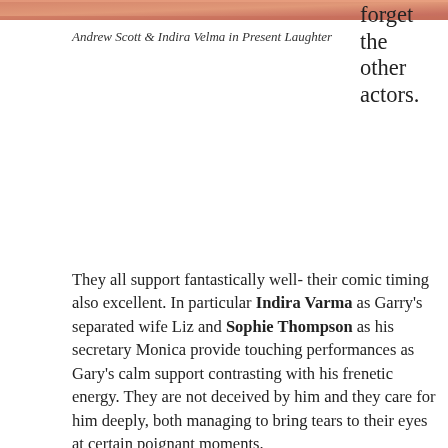[Figure (photo): Top portion of a production photo showing Andrew Scott and Indira Velma in Present Laughter, with orange/peach tones visible at the top edge.]
Andrew Scott & Indira Velma in Present Laughter
forget the other actors.
They all support fantastically well- their comic timing also excellent. In particular Indira Varma as Garry's separated wife Liz and Sophie Thompson as his secretary Monica provide touching performances as Gary's calm support contrasting with his frenetic energy. They are not deceived by him and they care for him deeply, both managing to bring tears to their eyes at certain poignant moments.
Luke Thallon gives a bravura performance as the passionate aspiring playwright Roland Maule. Enzo Cilenti charms as the disruptive Joe who threatens to